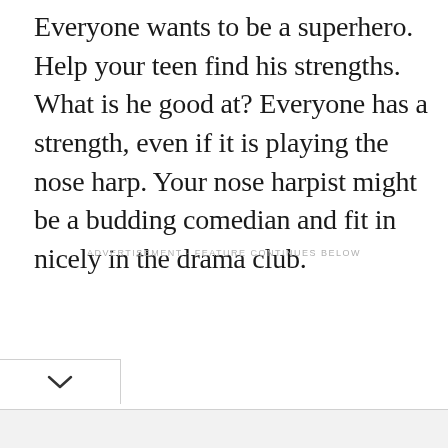Everyone wants to be a superhero. Help your teen find his strengths. What is he good at? Everyone has a strength, even if it is playing the nose harp. Your nose harpist might be a budding comedian and fit in nicely in the drama club.
ADVERTISEMENT - FEATURE CONTINUES BELOW